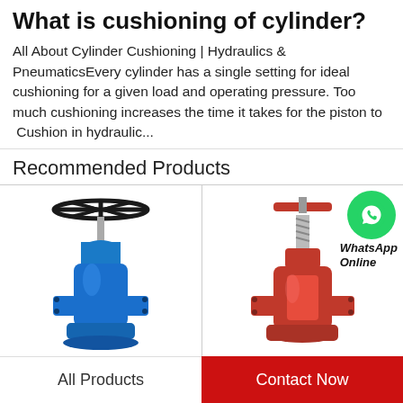What is cushioning of cylinder?
All About Cylinder Cushioning | Hydraulics & PneumaticsEvery cylinder has a single setting for ideal cushioning for a given load and operating pressure. Too much cushioning increases the time it takes for the piston to  Cushion in hydraulic...
Recommended Products
[Figure (photo): Blue cast iron gate valve with black handwheel]
[Figure (photo): Red cast iron gate valve with handwheel, WhatsApp Online badge overlay]
All Products
Contact Now